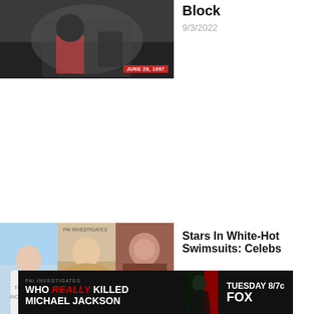[Figure (photo): Boxing match photo with red overlay date badge reading JUNE 28, 1997]
Block
9/3/2022
[Figure (photo): Three-panel collage of female celebrities in white outfits]
Stars In White-Hot Swimsuits: Celebs
[Figure (screenshot): Ad banner: WHO REALLY KILLED MICHAEL JACKSON — TUESDAY 8/7c FOX]